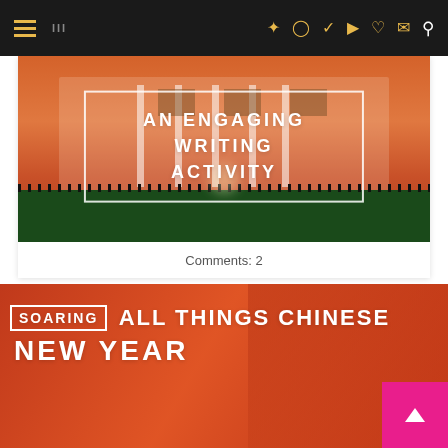Navigation header with hamburger menu and social icons (Pinterest, Instagram, Twitter, YouTube, Cart, Email, Search)
[Figure (photo): White House building at night with orange/warm lighting, with overlaid text box reading AN ENGAGING WRITING ACTIVITY]
Comments: 2
[Figure (photo): Red/orange textured background with title ALL THINGS CHINESE NEW YEAR and SOARING badge logo]